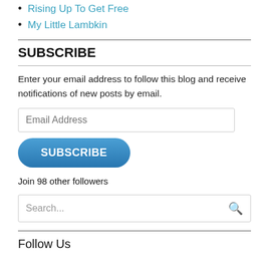Rising Up To Get Free
My Little Lambkin
SUBSCRIBE
Enter your email address to follow this blog and receive notifications of new posts by email.
Email Address
SUBSCRIBE
Join 98 other followers
Search...
Follow Us